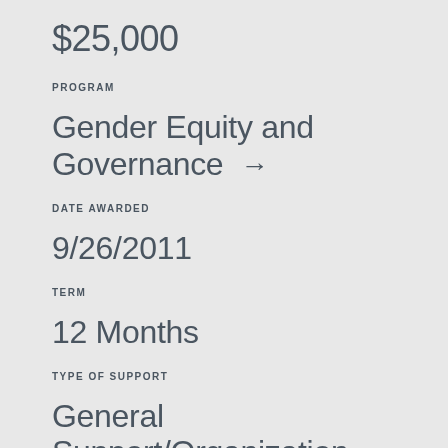$25,000
PROGRAM
Gender Equity and Governance →
DATE AWARDED
9/26/2011
TERM
12 Months
TYPE OF SUPPORT
General Support/Organization